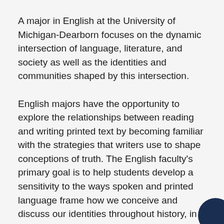A major in English at the University of Michigan-Dearborn focuses on the dynamic intersection of language, literature, and society as well as the identities and communities shaped by this intersection.
English majors have the opportunity to explore the relationships between reading and writing printed text by becoming familiar with the strategies that writers use to shape conceptions of truth. The English faculty's primary goal is to help students develop a sensitivity to the ways spoken and printed language frame how we conceive and discuss our identities throughout history, in the context of a global community both in — and beyond — Metropolitan Detroit. English majors may expect to develop a cl...